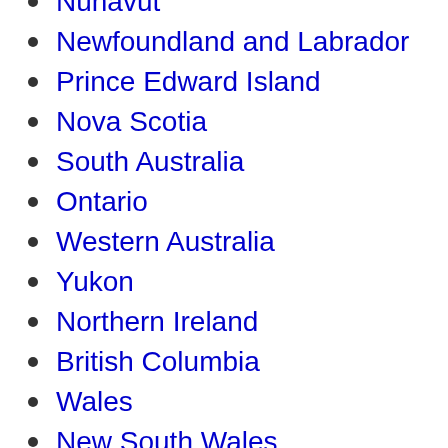Nunavut
Newfoundland and Labrador
Prince Edward Island
Nova Scotia
South Australia
Ontario
Western Australia
Yukon
Northern Ireland
British Columbia
Wales
New South Wales